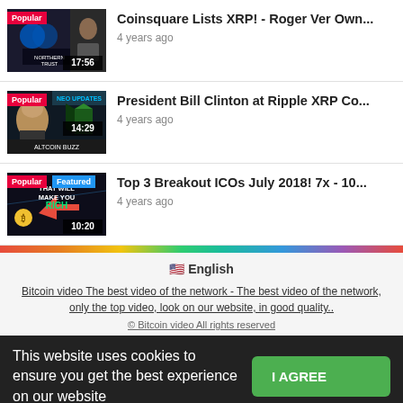[Figure (screenshot): Video thumbnail 1 - Popular badge, Northern Trust logo, duration 17:56]
Coinsquare Lists XRP! - Roger Ver Own...
4 years ago
[Figure (screenshot): Video thumbnail 2 - Popular badge, NEO UPDATES, Bill Clinton, duration 14:29]
President Bill Clinton at Ripple XRP Co...
4 years ago
[Figure (screenshot): Video thumbnail 3 - Popular badge, Featured badge, duration 10:20, THAT WILL MAKE YOU RICH]
Top 3 Breakout ICOs July 2018! 7x - 10...
4 years ago
🇺🇸 English
Bitcoin video The best video of the network - The best video of the network, only the top video, look on our website, in good quality..
© Bitcoin video All rights reserved
This website uses cookies to ensure you get the best experience on our website
f  🐦  @  ⓟ  🟢